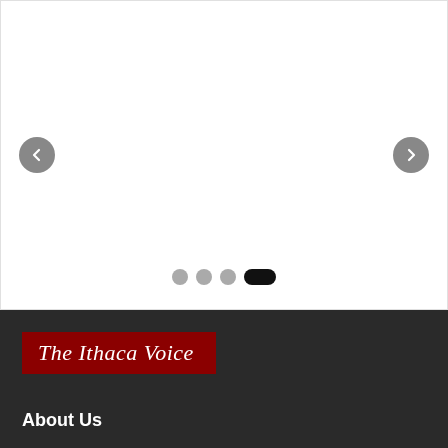[Figure (screenshot): Slider/carousel UI element with left and right navigation arrow buttons (grey circles with chevrons) and four pagination dots at the bottom (three grey circles and one active black pill/rounded rectangle). The main content area is white and empty.]
[Figure (logo): The Ithaca Voice logo — italic serif white text on a dark red/crimson background banner]
About Us